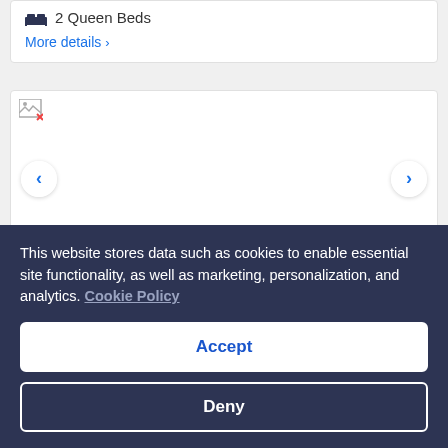2 Queen Beds
More details >
[Figure (photo): Hotel room photo carousel with broken image placeholder, left/right navigation arrows, and photo count badge showing 4]
This website stores data such as cookies to enable essential site functionality, as well as marketing, personalization, and analytics. Cookie Policy
Accept
Deny